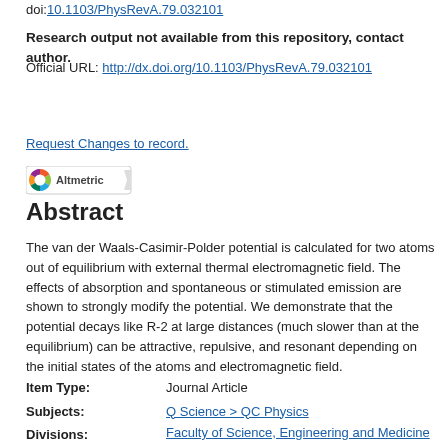doi:10.1103/PhysRevA.79.032101
Research output not available from this repository, contact author.
Official URL: http://dx.doi.org/10.1103/PhysRevA.79.032101
Request Changes to record.
[Figure (logo): Altmetric logo badge]
Abstract
The van der Waals-Casimir-Polder potential is calculated for two atoms out of equilibrium with external thermal electromagnetic field. The effects of absorption and spontaneous or stimulated emission are shown to strongly modify the potential. We demonstrate that the potential decays like R-2 at large distances (much slower than at the equilibrium) can be attractive, repulsive, and resonant depending on the initial states of the atoms and electromagnetic field.
| Field | Value |
| --- | --- |
| Item Type: | Journal Article |
| Subjects: | Q Science > QC Physics |
| Divisions: | Faculty of Science, Engineering and Medicine > Science > Physics |